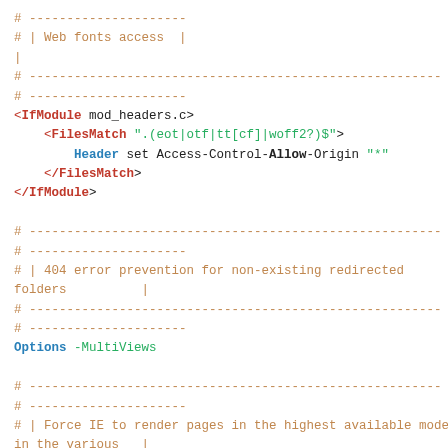# ---------------------
# | Web fonts access  |
# -------------------------------------------------------
# ---------------------
<IfModule mod_headers.c>
    <FilesMatch ".(eot|otf|tt[cf]|woff2?)$">
        Header set Access-Control-Allow-Origin "*"
    </FilesMatch>
</IfModule>

# -------------------------------------------------------
# ---------------------
# | 404 error prevention for non-existing redirected folders |
# -------------------------------------------------------
# ---------------------
Options -MultiViews

# -------------------------------------------------------
# ---------------------
# | Force IE to render pages in the highest available mode in the various |
# -------------------------------------------------------
# ---------------------
<IfModule mod_headers.c>